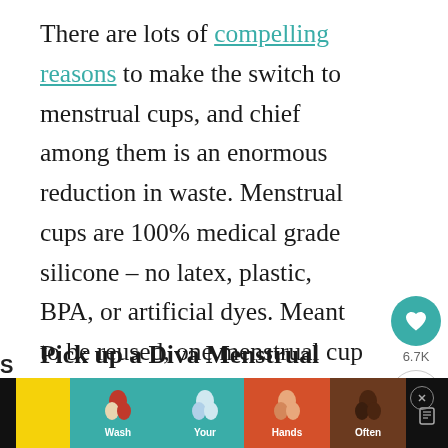There are lots of compelling reasons to make the switch to menstrual cups, and chief among them is an enormous reduction in waste. Menstrual cups are 100% medical grade silicone – no latex, plastic, BPA, or artificial dyes. Meant to be reused, one menstrual cup will endure for 10 years or more.
Pick up a Diva Menstrual Cup here.
15. Diapers
[Figure (screenshot): Advertisement banner: Wash Your Hands Often with colorful hand-washing emoji icons on teal, orange, and brown background sections]